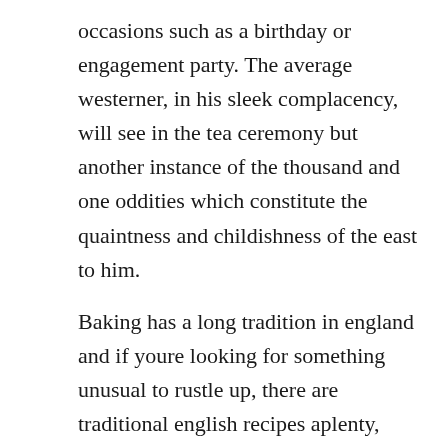occasions such as a birthday or engagement party. The average westerner, in his sleek complacency, will see in the tea ceremony but another instance of the thousand and one oddities which constitute the quaintness and childishness of the east to him.
Baking has a long tradition in england and if youre looking for something unusual to rustle up, there are traditional english recipes aplenty, many of them named after the location where they were first made. Traditional afternoon tea consists of a